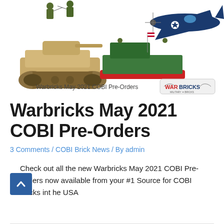[Figure (photo): Promotional image showing COBI military brick toy sets including a tank, boat, airplane, and soldier minifigures, with 'Warbricks May 2021 COBI Pre-Orders' text and War Bricks logo]
Warbricks May 2021 COBI Pre-Orders
3 Comments / COBI Brick News / By admin
Check out all the new Warbricks May 2021 COBI Pre-Orders now available from your #1 Source for COBI Bricks int he USA